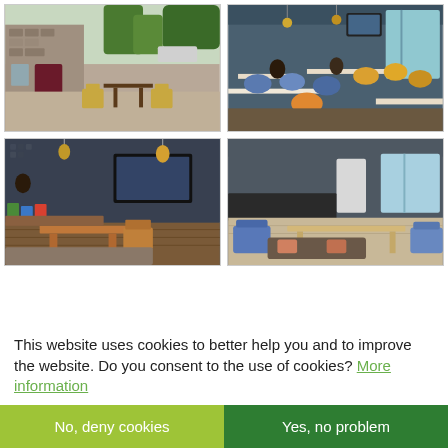[Figure (photo): Outdoor seating area of a campsite/hostel with stone building, wicker chairs and table on gravel]
[Figure (photo): Interior dining/common room with blue and yellow chairs, tables, TV on wall, large windows]
[Figure (photo): Interior children play area with colorful toys, dark patterned walls, wooden furniture and TV]
[Figure (photo): Interior lounge area with light wood table, blue chairs, sofa, pendant lights and windows]
This website uses cookies to better help you and to improve the website. Do you consent to the use of cookies? More information
No, deny cookies
Yes, no problem